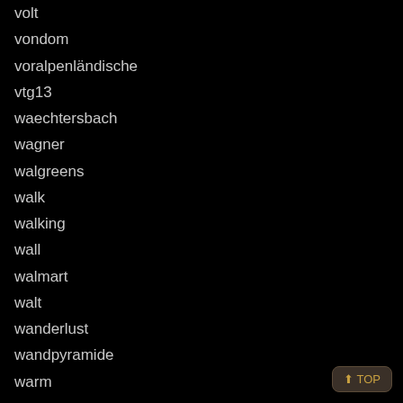volt
vondom
voralpenländische
vtg13
waechtersbach
wagner
walgreens
walk
walking
wall
walmart
walt
wanderlust
wandpyramide
warm
warner
wartime
waterfall